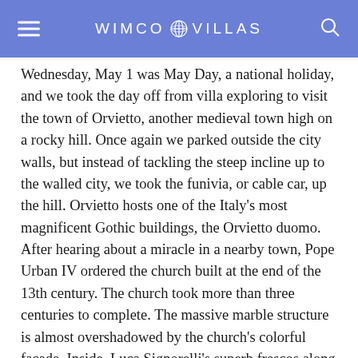WIMCO VILLAS
Wednesday, May 1 was May Day, a national holiday, and we took the day off from villa exploring to visit the town of Orvietto, another medieval town high on a rocky hill. Once again we parked outside the city walls, but instead of tackling the steep incline up to the walled city, we took the funivia, or cable car, up the hill. Orvietto hosts one of the Italy's most magnificent Gothic buildings, the Orvietto duomo. After hearing about a miracle in a nearby town, Pope Urban IV ordered the church built at the end of the 13th century. The church took more than three centuries to complete. The massive marble structure is almost overshadowed by the church's colorful façade. Inside, Luca Signorelli's superb frescos along the wall and ceiling are said to have inspired Michelangelo's work. [continues...]